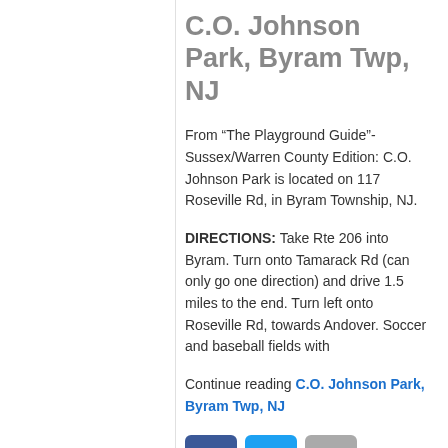C.O. Johnson Park, Byram Twp, NJ
From “The Playground Guide”- Sussex/Warren County Edition: C.O. Johnson Park is located on 117 Roseville Rd, in Byram Township, NJ.
DIRECTIONS: Take Rte 206 into Byram. Turn onto Tamarack Rd (can only go one direction) and drive 1.5 miles to the end. Turn left onto Roseville Rd, towards Andover. Soccer and baseball fields with
Continue reading C.O. Johnson Park, Byram Twp, NJ
[Figure (infographic): Social share buttons: Facebook (dark blue), Twitter (light blue), Email (grey), Phone/share (green)]